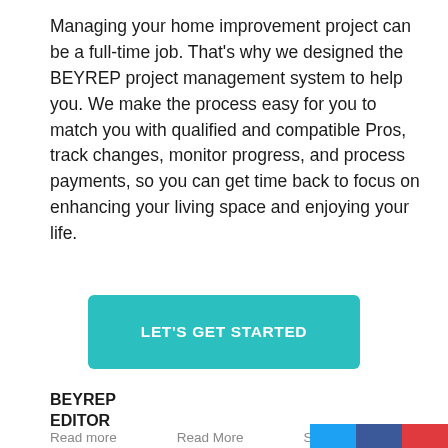Managing your home improvement project can be a full-time job. That's why we designed the BEYREP project management system to help you. We make the process easy for you to match you with qualified and compatible Pros, track changes, monitor progress, and process payments, so you can get time back to focus on enhancing your living space and enjoying your life.
[Figure (other): Teal/turquoise call-to-action button with white uppercase text reading 'LET'S GET STARTED']
BEYREP EDITOR
Read more
Read More
Share this